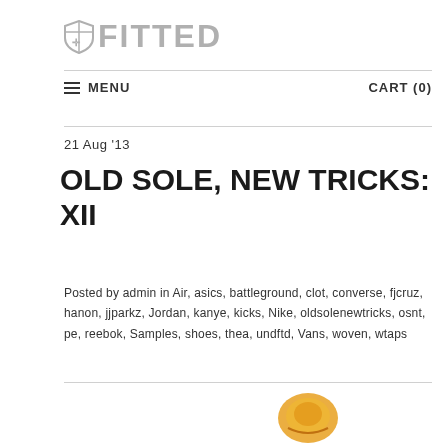FITTED
MENU   CART (0)
21 Aug '13
OLD SOLE, NEW TRICKS: XII
Posted by admin in Air, asics, battleground, clot, converse, fjcruz, hanon, jjparkz, Jordan, kanye, kicks, Nike, oldsolenewtricks, osnt, pe, reebok, Samples, shoes, thea, undftd, Vans, woven, wtaps
[Figure (illustration): Partial view of a sneaker/shoe at the bottom of the page]